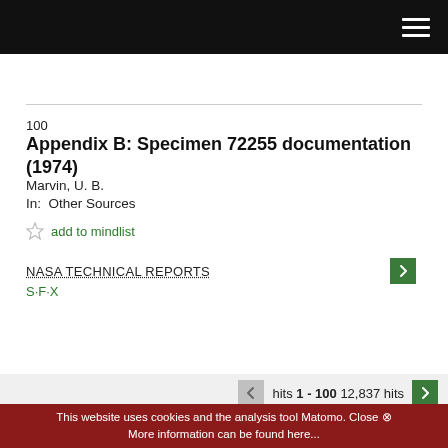NASA Technical Reports Search
100
Appendix B: Specimen 72255 documentation (1974)
Marvin, U. B.
In:  Other Sources
add to mindlist
NASA TECHNICAL REPORTS
S·F·X
hits 1 - 100 12,837 hits
Imprint • Privacy Statement • Contact Us
This website uses cookies and the analysis tool Matomo. Close ⊗ More information can be found here...